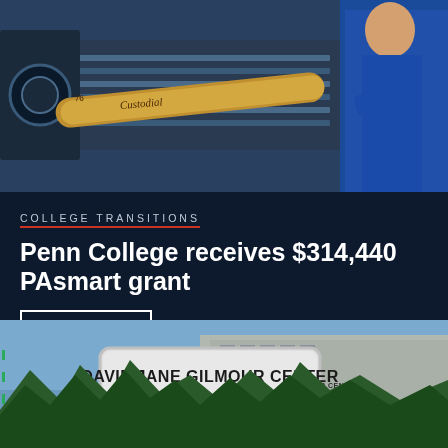[Figure (photo): Person in blue shirt operating a lathe machine, with a wooden piece labeled 'Custodial' being turned]
COLLEGE TRANSITIONS
Penn College receives $314,440 PAsmart grant
READ MORE
[Figure (photo): Exterior of the Davie Jane Gilmour Center building with signage, trees in foreground and blue sky background]